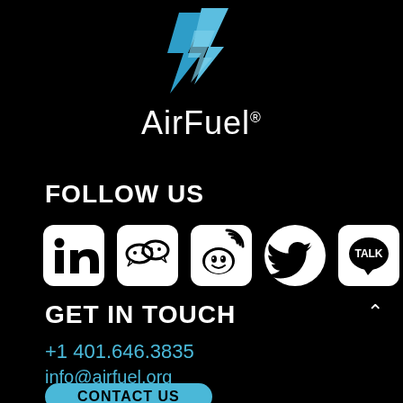[Figure (logo): AirFuel logo with blue lightning bolt / arrow graphic and 'AirFuel®' text in white below]
FOLLOW US
[Figure (infographic): Row of 5 social media icons: LinkedIn, WeChat, Weibo, Twitter, KakaoTalk]
GET IN TOUCH
+1 401.646.3835
info@airfuel.org
CONTACT US